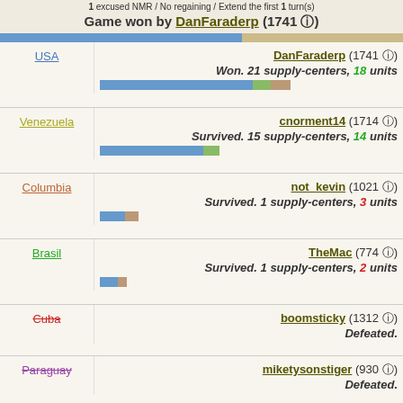1 excused NMR / No regaining / Extend the first 1 turn(s)
Game won by DanFaraderp (1741 ✓)
| Country | Player | Status |
| --- | --- | --- |
| USA | DanFaraderp (1741 ✓) | Won. 21 supply-centers, 18 units |
| Venezuela | cnorment14 (1714 ✓) | Survived. 15 supply-centers, 14 units |
| Columbia | not_kevin (1021 ✓) | Survived. 1 supply-centers, 3 units |
| Brasil | TheMac (774 ✓) | Survived. 1 supply-centers, 2 units |
| Cuba | boomsticky (1312 ✓) | Defeated. |
| Paraguay | miketysonstiger (930 ✓) | Defeated. |
| Mexico | D1ABL012 (1082 ✓) | Defeated. |
| Peru | mammothbane (733 ✓) | Defeated. |